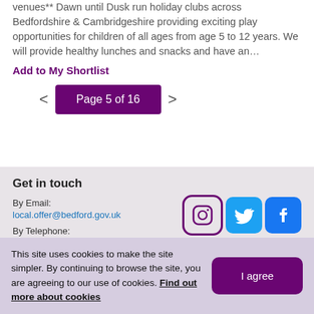...This venue is now fully booked. Please see alternative venues** Dawn until Dusk run holiday clubs across Bedfordshire & Cambridgeshire providing exciting play opportunities for children of all ages from age 5 to 12 years. We will provide healthy lunches and snacks and have an…
Add to My Shortlist
Page 5 of 16
Get in touch
By Email:
local.offer@bedford.gov.uk
[Figure (logo): Instagram, Twitter, and Facebook social media icons]
By Telephone:
This site uses cookies to make the site simpler. By continuing to browse the site, you are agreeing to our use of cookies. Find out more about cookies